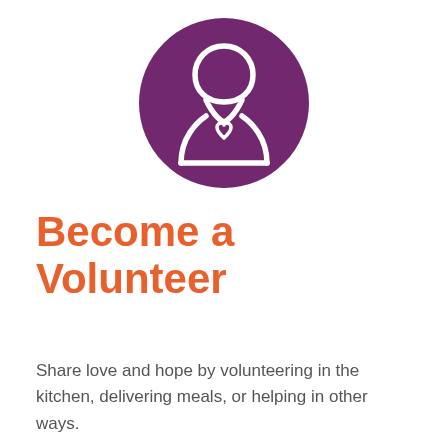[Figure (illustration): Purple circle containing a white outline icon of a person with a heart symbol on the chest, representing a volunteer]
Become a Volunteer
Share love and hope by volunteering in the kitchen, delivering meals, or helping in other ways.